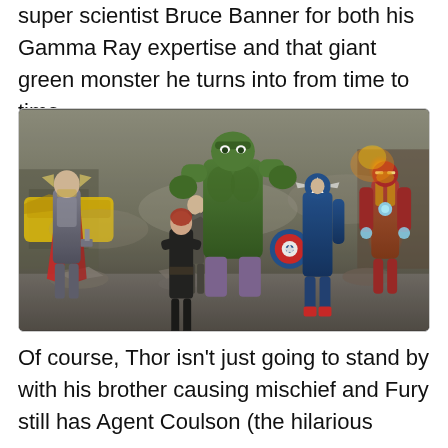super scientist Bruce Banner for both his Gamma Ray expertise and that giant green monster he turns into from time to time.
[Figure (photo): Movie still from The Avengers showing Thor, Black Widow, Hawkeye, Hulk, Captain America, and Iron Man assembled in a battle-damaged urban street scene.]
Of course, Thor isn't just going to stand by with his brother causing mischief and Fury still has Agent Coulson (the hilarious scene-